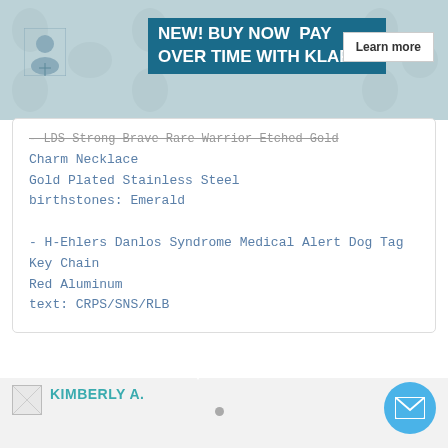NEW! BUY NOW  PAY OVER TIME WITH KLARNA
- LDS Strong Brave Rare Warrior Etched Gold Charm Necklace
Gold Plated Stainless Steel
birthstones: Emerald

- H-Ehlers Danlos Syndrome Medical Alert Dog Tag Key Chain
Red Aluminum
text: CRPS/SNS/RLB
KIMBERLY A.